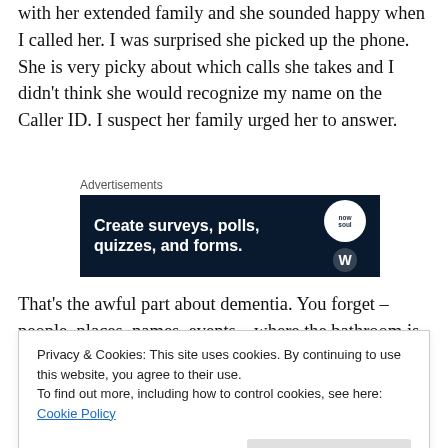She turned 90 this past weekend. My friend celebrated with her extended family and she sounded happy when I called her. I was surprised she picked up the phone. She is very picky about which calls she takes and I didn't think she would recognize my name on the Caller ID. I suspect her family urged her to answer.
[Figure (infographic): Advertisement banner with dark navy background reading 'Create surveys, polls, quizzes, and forms.' with circular logo icons on the right]
That's the awful part about dementia. You forget – people, places, names, events – where the bathroom is, what's a
Privacy & Cookies: This site uses cookies. By continuing to use this website, you agree to their use.
To find out more, including how to control cookies, see here: Cookie Policy
Close and accept